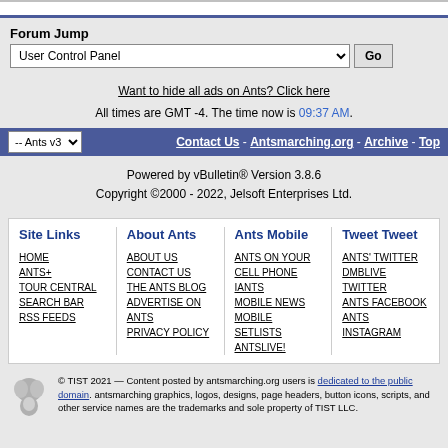Forum Jump
User Control Panel  Go
Want to hide all ads on Ants? Click here
All times are GMT -4. The time now is 09:37 AM.
-- Ants v3   Contact Us - Antsmarching.org - Archive - Top
Powered by vBulletin® Version 3.8.6
Copyright ©2000 - 2022, Jelsoft Enterprises Ltd.
| Site Links | About Ants | Ants Mobile | Tweet Tweet |
| --- | --- | --- | --- |
| HOME
ANTS+
TOUR CENTRAL
SEARCH BAR
RSS FEEDS | ABOUT US
CONTACT US
THE ANTS BLOG
ADVERTISE ON ANTS
PRIVACY POLICY | ANTS ON YOUR CELL PHONE
IANTS
MOBILE NEWS
MOBILE SETLISTS
ANTSLIVE! | ANTS' TWITTER
DMBLIVE TWITTER
ANTS FACEBOOK
ANTS INSTAGRAM |
© TIST 2021 — Content posted by antsmarching.org users is dedicated to the public domain. antsmarching graphics, logos, designs, page headers, button icons, scripts, and other service names are the trademarks and sole property of TIST LLC.